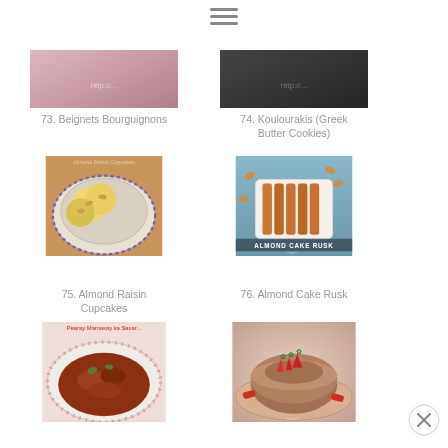[Figure (photo): Top portion of image for item 73 Beignets Bourguignons - partially visible food photo]
73. Beignets Bourguignons
[Figure (photo): Top portion of image for item 74 Koulourakis (Greek Butter Cookies) - partially visible food photo]
74. Koulourakis (Greek Butter Cookies)
[Figure (photo): Almond Raisin Cupcakes - round baked goods on a decorative plate with almonds on top]
75. Almond Raisin Cupcakes
[Figure (photo): Almond Cake Rusk - rectangular biscotti-like pieces in a white tray with almonds scattered around, labeled Almond Cake Rusk]
76. Almond Cake Rusk
[Figure (photo): Mutton Stew - rich brown curry/stew on a floral plate]
77. Mutton Stew
[Figure (photo): Sugar Free Pound Cake - round cake topped with fresh strawberries on a plate]
78. Sugar Free Pound Cake